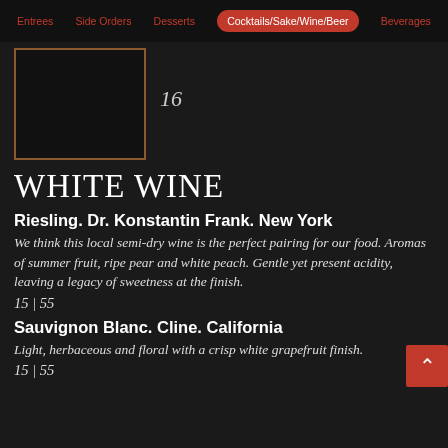Entrees | Side Orders | Desserts | Cocktails/Sake/Wine/Beer | Beverages
16
WHITE WINE
Riesling. Dr. Konstantin Frank. New York
We think this local semi-dry wine is the perfect pairing for our food. Aromas of summer fruit, ripe pear and white peach. Gentle yet present acidity, leaving a legacy of sweetness at the finish.
15 | 55
Sauvignon Blanc. Cline. California
Light, herbaceous and floral with a crisp white grapefruit finish.
15 | 55